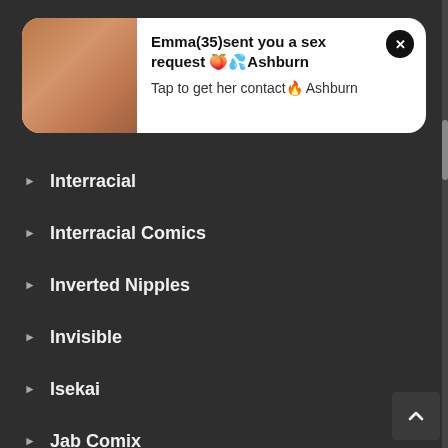[Figure (other): Notification popup with image thumbnail on the left showing a person, and text content on the right. Title: Emma(35)sent you a sex request 🍑💦Ashburn. Subtitle: Tap to get her contact🔥 Ashburn. Close button (x) in top right corner.]
Interracial
Interracial Comics
Inverted Nipples
Invisible
Isekai
Jab Comix
Josei
Josou Seme
Kemonomimi
Kimono